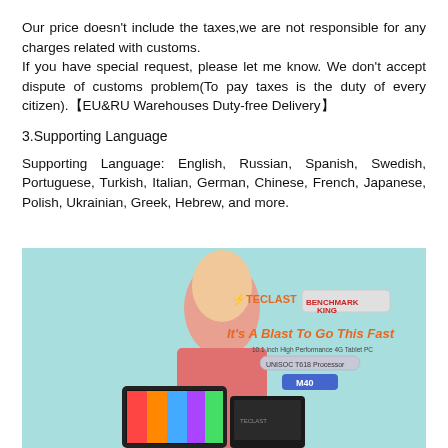Our price doesn't include the taxes,we are not responsible for any charges related with customs.
If you have special request, please let me know. We don't accept dispute of customs problem(To pay taxes is the duty of every citizen).【EU&RU Warehouses Duty-free Delivery】
3.Supporting Language
Supporting Language: English, Russian, Spanish, Swedish, Portuguese, Turkish, Italian, German, Chinese, French, Japanese, Polish, Ukrainian, Greek, Hebrew, and more.
[Figure (photo): Product advertisement image for Teclast M40 tablet PC. Woman in pink blazer posed with tablets. Text reads: TECLAST BENCHMARK KING, It's A Blast To Go This Fast, 10.1 inch High Performance 4G Tablet PC, UNISOC T618 Processor, M40]